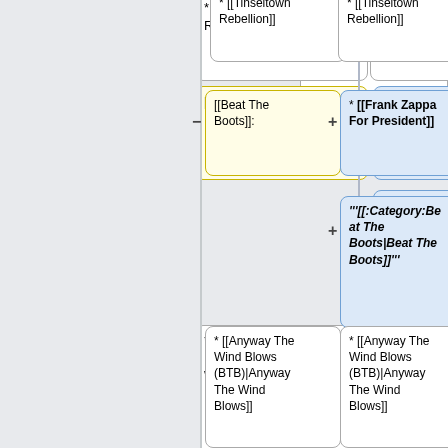[Figure (flowchart): Wikipedia diff/flowchart showing two-column comparison of wiki markup nodes. Left column (yellow background) shows removed content, right column (blue background) shows added content. Nodes include: [[Tinseltown Rebellion]] on both sides (top, cut off), [[Beat The Boots]]: (yellow) vs * [[Frank Zappa For President]] and '''[[:Category:Beat The Boots|Beat The Boots]]''' (blue), * [[Anyway The Wind Blows (BTB)|Anyway The Wind Blows]] on both sides, empty yellow node vs '''[[:Category:Compilations|Compilations]]''' (blue), ===Tributes &amp; Cover Albums=== (yellow) vs * [[Mothermania]] (blue).]